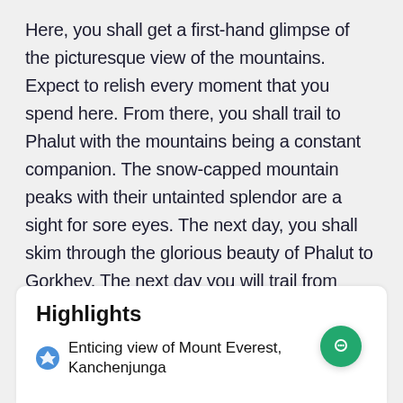Here, you shall get a first-hand glimpse of the picturesque view of the mountains. Expect to relish every moment that you spend here. From there, you shall trail to Phalut with the mountains being a constant companion. The snow-capped mountain peaks with their untainted splendor are a sight for sore eyes. The next day, you shall skim through the glorious beauty of Phalut to Gorkhey. The next day you will trail from Gorkey to Timburey. And on the last day, you will trek through the magnificent beauty of Timburey till you reach Srikhola and drive back to Darjeeling.
Highlights
Enticing view of Mount Everest, Kanchenjunga